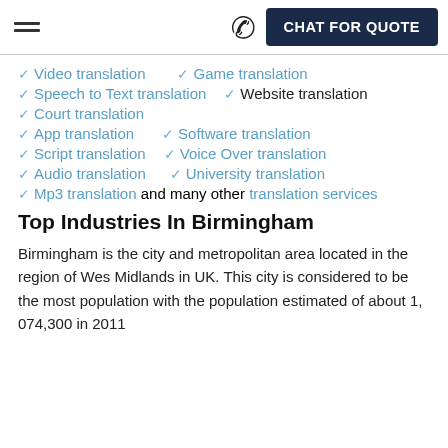☰ ✆ CHAT FOR QUOTE
✓ Video translation  ✓ Game translation
✓ Speech to Text translation  ✓ Website translation
✓ Court translation
✓ App translation  ✓ Software translation
✓ Script translation  ✓ Voice Over translation
✓ Audio translation  ✓ University translation
✓ Mp3 translation and many other translation services
Top Industries In Birmingham
Birmingham is the city and metropolitan area located in the region of Wes Midlands in UK. This city is considered to be the most population with the population estimated of about 1, 074,300 in 2011